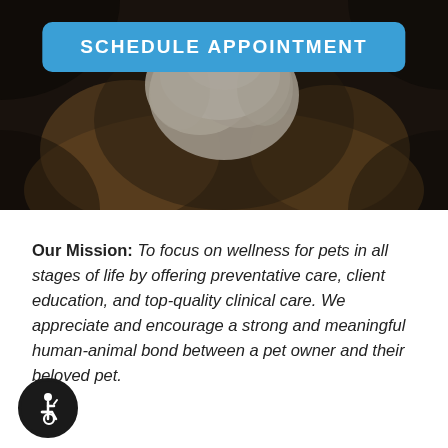[Figure (photo): A dark-toned photograph of a fluffy white/light-colored dog resting on what appears to be a brown/tan seat or cushion. The background is dark.]
SCHEDULE APPOINTMENT
Our Mission: To focus on wellness for pets in all stages of life by offering preventative care, client education, and top-quality clinical care. We appreciate and encourage a strong and meaningful human-animal bond between a pet owner and their beloved pet.
[Figure (illustration): Accessibility wheelchair symbol — a circular black icon with a white wheelchair user pictogram inside.]